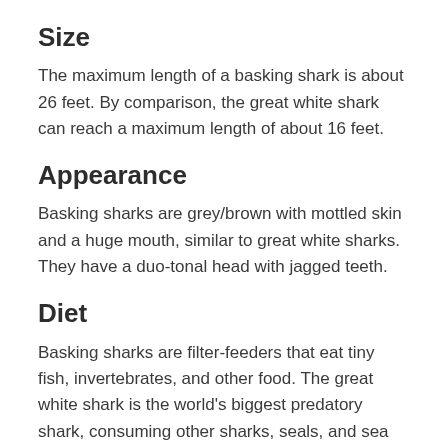Size
The maximum length of a basking shark is about 26 feet. By comparison, the great white shark can reach a maximum length of about 16 feet.
Appearance
Basking sharks are grey/brown with mottled skin and a huge mouth, similar to great white sharks. They have a duo-tonal head with jagged teeth.
Diet
Basking sharks are filter-feeders that eat tiny fish, invertebrates, and other food. The great white shark is the world's biggest predatory shark, consuming other sharks, seals, and sea lions when hungry.